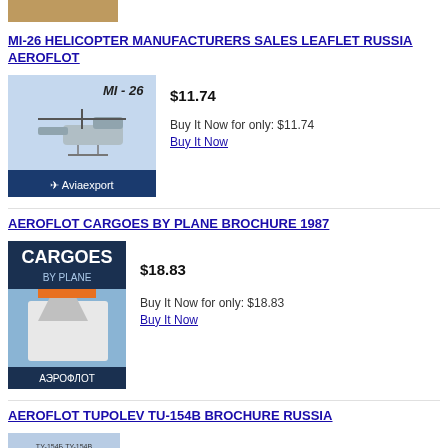[Figure (photo): Partial image at top of page, cropped]
MI-26 HELICOPTER MANUFACTURERS SALES LEAFLET RUSSIA AEROFLOT
[Figure (photo): MI-26 helicopter brochure cover showing helicopter in flight, Aviaexport branding]
$11.74
Buy It Now for only: $11.74
Buy It Now
AEROFLOT CARGOES BY PLANE BROCHURE 1987
[Figure (photo): Cargoes By Plane brochure cover with Aeroflot aircraft tail]
$18.83
Buy It Now for only: $18.83
Buy It Now
AEROFLOT TUPOLEV TU-154B BROCHURE RUSSIA
[Figure (photo): Partial image of Tupolev TU-154B brochure at bottom of page]